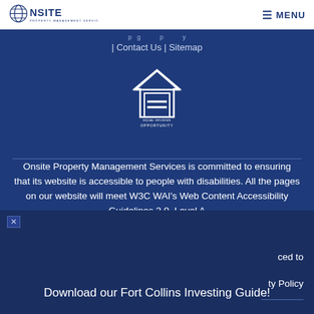ONSITE PROPERTY MANAGEMENT SERVICES | MENU
| Contact Us | Sitemap
[Figure (logo): Equal Housing Opportunity logo - house with equal sign inside]
Onsite Property Management Services is committed to ensuring that its website is accessible to people with disabilities. All the pages on our website will meet W3C WAI's Web Content Accessibility Guidelines 2.0, Level A
Download our Fort Collins Investing Guide!
ced to
ty Policy